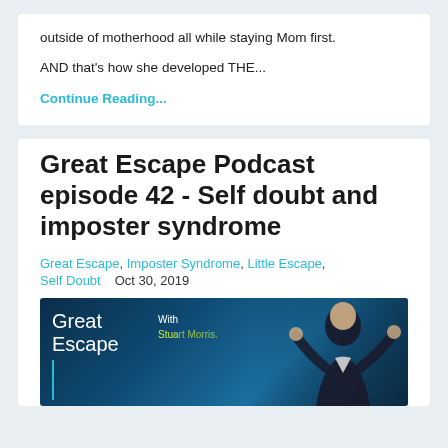outside of motherhood all while staying Mom first.
AND that's how she developed THE...
Continue Reading...
Great Escape Podcast episode 42 - Self doubt and imposter syndrome
Great Escape, Imposter Syndrome, Little Escape, Self Doubt    Oct 30, 2019
[Figure (photo): Great Escape Podcast thumbnail image showing 'Great Escape' text with 'With Stuart Morris' subtitle and a person gesturing on a dark blue background]